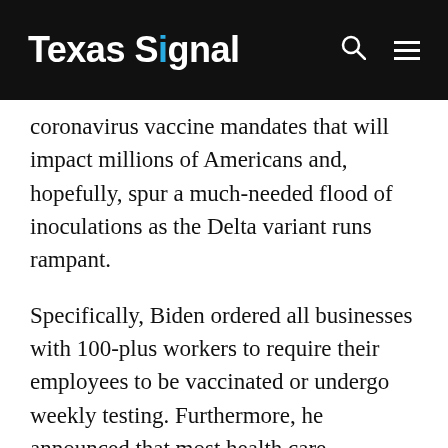Texas Signal
coronavirus vaccine mandates that will impact millions of Americans and, hopefully, spur a much-needed flood of inoculations as the Delta variant runs rampant.
Specifically, Biden ordered all businesses with 100-plus workers to require their employees to be vaccinated or undergo weekly testing. Furthermore, he announced that most health care providers and facilities that receive Medicaid or Medicare funding from the federal government will need to immunize their staff, a